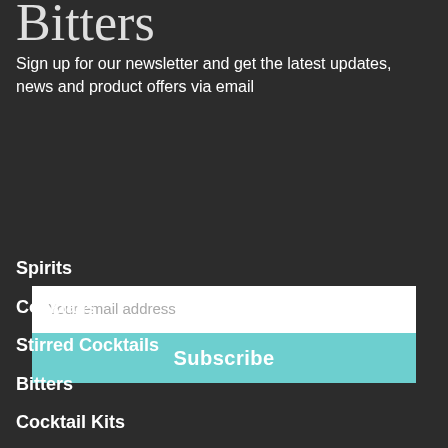[Figure (logo): Cursive/script white logo text partially visible at the top]
Sign up for our newsletter and get the latest updates, news and product offers via email
[Figure (infographic): Email input field with placeholder 'Your email address' and a teal Subscribe button below]
Spirits
Cocktails
Stirred Cocktails
Bitters
Cocktail Kits
Merch & Mixes
Cocktail Book